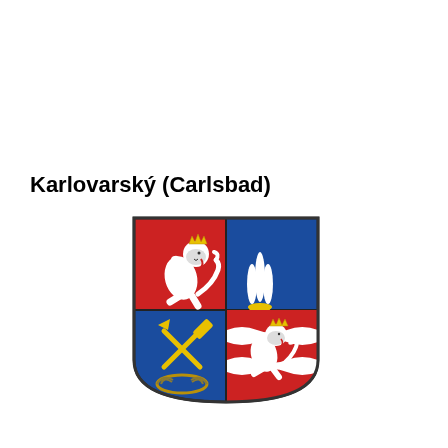Karlovarský (Carlsbad)
[Figure (illustration): Coat of arms of Karlovarský Region: a quartered heraldic shield. Top-left quarter: red background with a white/silver rampant lion with a golden crown. Top-right quarter: blue background with a white fountain (three water jets) above a golden chalice/cup. Bottom-left quarter: blue background with crossed golden hammer and pick over a golden laurel wreath. Bottom-right quarter: red background with red and white horizontal wavy stripes and a white/silver rampant lion with a golden crown on top.]